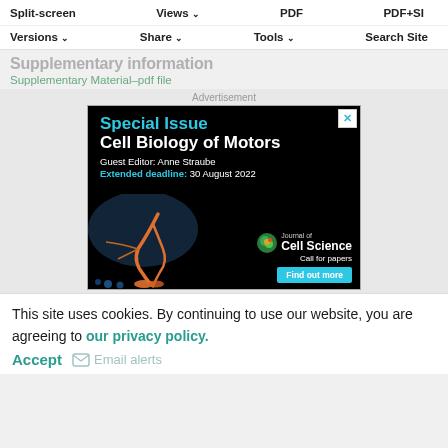Split-screen  Views  PDF  PDF+SI
Versions  Share  Tools  Search Site
Supplementary information
Supplementary Material–pdf file
Advertisement
[Figure (illustration): Advertisement for Journal of Cell Science Special Issue on Cell Biology of Motors. Guest Editor: Anne Straube. Extended deadline: 30 August 2022. Shows a neuron illustration and Journal of Cell Science logo with 'Call for papers' and 'Find out more' button.]
This site uses cookies. By continuing to use our website, you are agreeing to our privacy policy. Accept  Email alerts